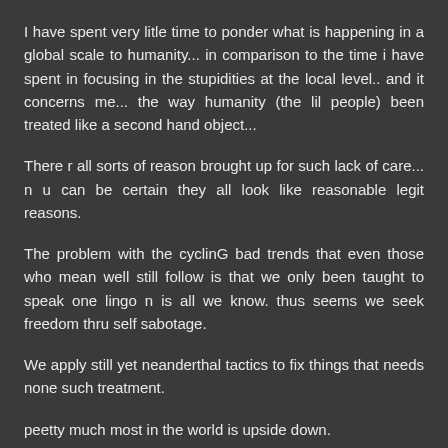I have spent very litle time to ponder what is happening in a global scale to humanity... in comparison to the time i have spent in focusing in the stupidities at the local level.. and it concerns me... the way humanity (the lil people) been treated like a second hand object...
There r all sorts of reason brought up for such lack of care... n u can be certain they all look like reasonable legit reasons.
The problem with the cyclinG bad trends that even those who mean well still follow is that we only been taught to speak one lingo n is all we know. thus seems we seek freedom thru self sabotage.
We apply still yet neanderthal tactics to fix things that needs none such treatment.
peetty much most in the world is upside down.